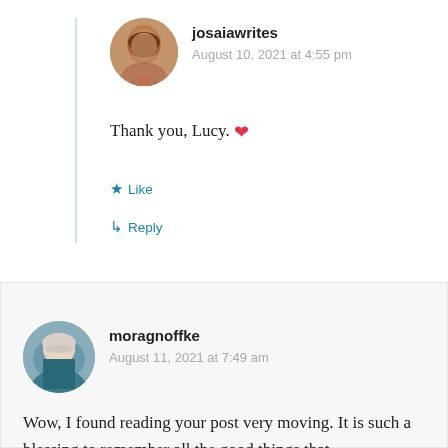[Figure (photo): Circular avatar photo of josaiawrites, a woman with brown hair smiling]
josaiawrites
August 10, 2021 at 4:55 pm
Thank you, Lucy. ❤
★ Like
↳ Reply
[Figure (photo): Circular avatar photo of moragnoffke, an older woman with white hair and a teal top]
moragnoffke
August 11, 2021 at 7:49 am
Wow, I found reading your post very moving. It is such a blessing to remember all the good things that